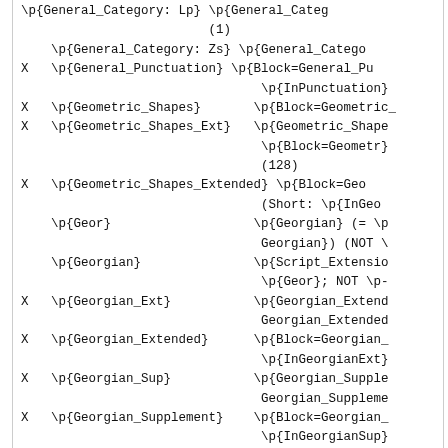\p{General_Category: Lp} \p{General_Categ...
                         (1)
    \p{General_Category: Zs} \p{General_Catego
X   \p{General_Punctuation} \p{Block=General_Pu
                                \p{InPunctuation}
X   \p{Geometric_Shapes}       \p{Block=Geometric_
X   \p{Geometric_Shapes_Ext}   \p{Geometric_Shape
                                \p{Block=Geometr}
                                (128)
X   \p{Geometric_Shapes_Extended} \p{Block=Geom
                                (Short: \p{InGeom
    \p{Geor}                   \p{Georgian} (= \p
                                Georgian}) (NOT \
    \p{Georgian}               \p{Script_Extensio
                                \p{Geor}; NOT \p-
X   \p{Georgian_Ext}           \p{Georgian_Extend
                                Georgian_Extended
X   \p{Georgian_Extended}      \p{Block=Georgian_
                                \p{InGeorgianExt}
X   \p{Georgian_Sup}           \p{Georgian_Supple
                                Georgian_Suppleme
X   \p{Georgian_Supplement}    \p{Block=Georgian_S
                                \p{InGeorgianSup}
    \p{Glag}                   \p{Glagolitic} (= \